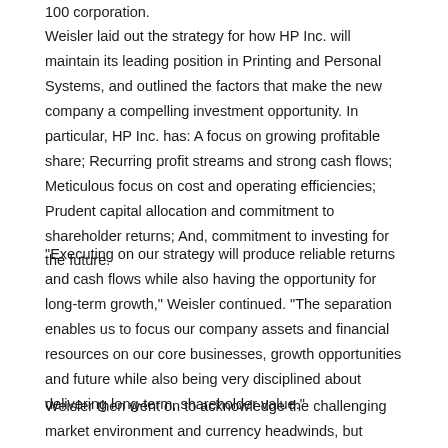100 corporation.
Weisler laid out the strategy for how HP Inc. will maintain its leading position in Printing and Personal Systems, and outlined the factors that make the new company a compelling investment opportunity. In particular, HP Inc. has: A focus on growing profitable share; Recurring profit streams and strong cash flows; Meticulous focus on cost and operating efficiencies; Prudent capital allocation and commitment to shareholder returns; And, commitment to investing for the future.
"Executing on our strategy will produce reliable returns and cash flows while also having the opportunity for long-term growth," Weisler continued. "The separation enables us to focus our company assets and financial resources on our core businesses, growth opportunities and future while also being very disciplined about delivering long-term, shareholder value."
Weisler then went on to acknowledge the challenging market environment and currency headwinds, but